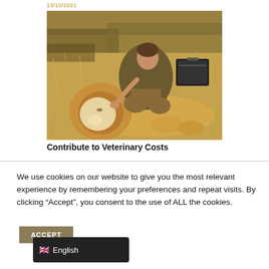13/10/2021
[Figure (photo): A man in khaki clothing crouching over a sedated white lion lying in dry grass, with a black equipment case nearby. The scene appears to be a wildlife veterinary procedure in a savanna setting.]
Contribute to Veterinary Costs
We use cookies on our website to give you the most relevant experience by remembering your preferences and repeat visits. By clicking “Accept”, you consent to the use of ALL the cookies.
ACCEPT
English